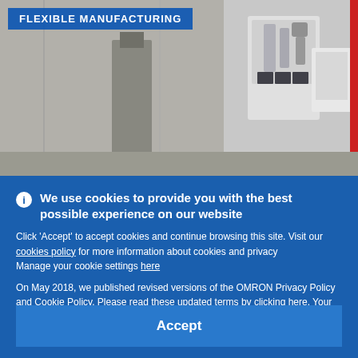[Figure (photo): Industrial robot arm / flexible manufacturing equipment in a factory setting]
FLEXIBLE MANUFACTURING
We use cookies to provide you with the best possible experience on our website
Click 'Accept' to accept cookies and continue browsing this site. Visit our cookies policy for more information about cookies and privacy
Manage your cookie settings here
On May 2018, we published revised versions of the OMRON Privacy Policy and Cookie Policy. Please read these updated terms by clicking here. Your use of our products and services is subject to these revised terms